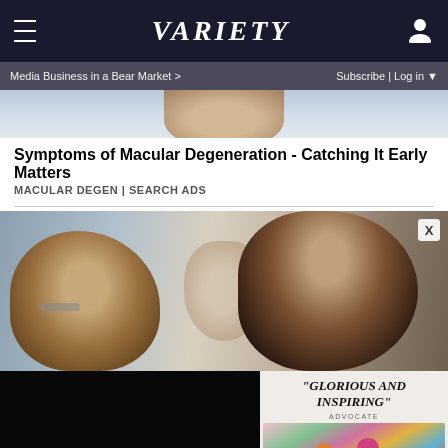VARIETY — Navigation bar with hamburger menu and user icon
Media Business in a Bear Market >
Subscribe | Log in ▼
[Figure (photo): Partial top image strip, cropped person visible at top of page]
Symptoms of Macular Degeneration - Catching It Early Matters
MACULAR DEGEN | SEARCH ADS
[Figure (photo): Two people facing each other closely, one with curly brown hair and glasses, one with slicked back dark hair, blurred background figure between them]
[Figure (photo): Black video panel with muted speaker icon at bottom left]
[Figure (photo): Advertisement panel with text GLORIOUS AND INSPIRING - ADVOCATE, showing colorful group of people posing]